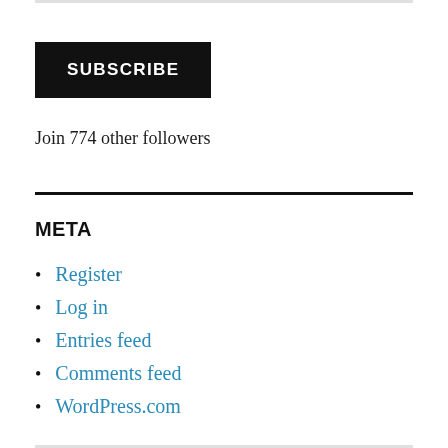SUBSCRIBE
Join 774 other followers
META
Register
Log in
Entries feed
Comments feed
WordPress.com